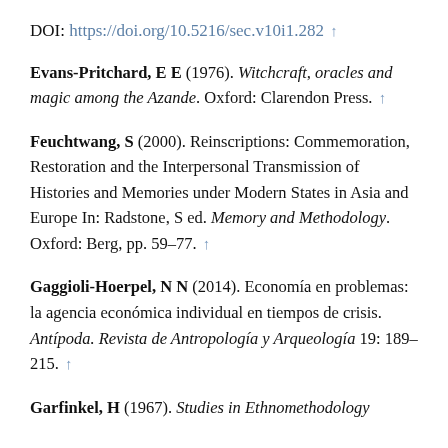DOI: https://doi.org/10.5216/sec.v10i1.282 ↑
Evans-Pritchard, E E (1976). Witchcraft, oracles and magic among the Azande. Oxford: Clarendon Press. ↑
Feuchtwang, S (2000). Reinscriptions: Commemoration, Restoration and the Interpersonal Transmission of Histories and Memories under Modern States in Asia and Europe In: Radstone, S ed. Memory and Methodology. Oxford: Berg, pp. 59–77. ↑
Gaggioli-Hoerpel, N N (2014). Economía en problemas: la agencia económica individual en tiempos de crisis. Antípoda. Revista de Antropología y Arqueología 19: 189–215. ↑
Garfinkel, H (1967). Studies in Ethnomethodology